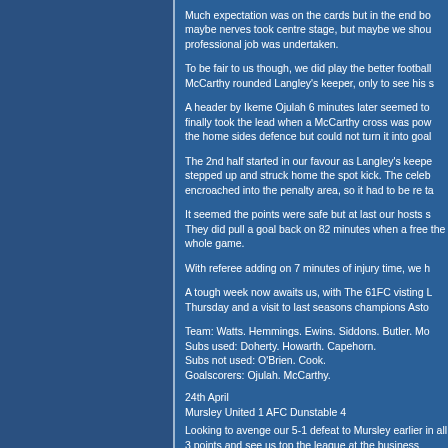Much expectation was on the cards but in the end bo maybe nerves took centre stage, but maybe we shou professional job was undertaken.
To be fair to us though, we did play the better football McCarthy rounded Langley's keeper, only to see his s
A header by Ikeme Ojulah 6 minutes later seemed to finally took the lead when a McCarthy cross was pow the home sides defence but could not turn it into goal
The 2nd half started in our favour as Langley's keepe stepped up and struck home the spot kick. The celeb encroached into the penalty area, so it had to be re ta
It seemed the points were safe but at last our hosts s They did pull a goal back on 82 minutes when a free the whole game.
With referee adding on 7 minutes of injury time, we h
A tough week now awaits us, with The 61FC visting L Thursday and a visit to last seasons champions Asto
Team: Watts. Hemmings. Ewins. Siddons. Butler. Mo Subs used: Doherty. Howarth. Capehorn. Subs not used: O'Brien. Cook. Goalscorers: Ojulah. McCarthy.
24th April
Mursley United 1 AFC Dunstable 4
Looking to avenge our 5-1 defeat to Mursley earlier in all 3 points and see us top the league at the business Taking a 1-0 lead into the break through Ikeme Ojulah see us on easy street. Mursley though rallied and pulled a goal back with 15